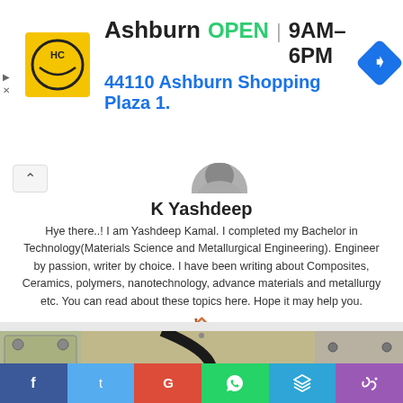[Figure (screenshot): Advertisement banner for Ashburn HC store showing logo, open status, hours 9AM-6PM, address 44110 Ashburn Shopping Plaza 1., and navigation icon]
K Yashdeep
Hye there..! I am Yashdeep Kamal. I completed my Bachelor in Technology(Materials Science and Metallurgical Engineering). Engineer by passion, writer by choice. I have been writing about Composites, Ceramics, polymers, nanotechnology, advance materials and metallurgy etc. You can read about these topics here. Hope it may help you.
[Figure (photo): Close-up photo of an open hard disk drive (HDD) showing the platters and read/write arm mechanism]
[Figure (infographic): Social media sharing bar with Facebook, Twitter, Google+, WhatsApp, Telegram, and phone/RSS icons]